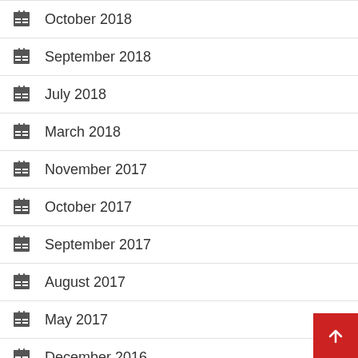October 2018
September 2018
July 2018
March 2018
November 2017
October 2017
September 2017
August 2017
May 2017
December 2016
November 2016
October 2016
December 2015